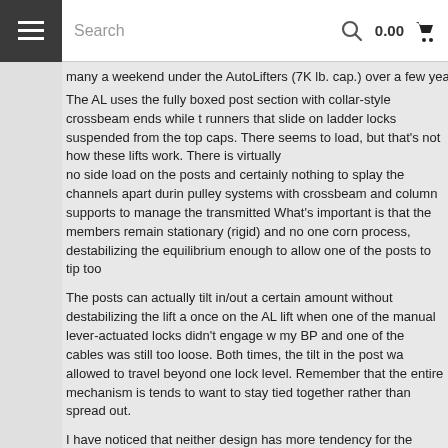☰  Search  🔍  0.00  🛒
many a weekend under the AutoLifters (7K lb. cap.) over a few years and have ov
The AL uses the fully boxed post section with collar-style crossbeam ends while runners that slide on ladder locks suspended from the top caps. There seems to load, but that's not how these lifts work. There is virtually no side load on the posts and certainly nothing to splay the channels apart durin pulley systems with crossbeam and column supports to manage the transmitted What's important is that the members remain stationary (rigid) and no one corn process, destabilizing the equilibrium enough to allow one of the posts to tip too
The posts can actually tilt in/out a certain amount without destabilizing the lift a once on the AL lift when one of the manual lever-actuated locks didn't engage w my BP and one of the cables was still too loose. Both times, the tilt in the post wa allowed to travel beyond one lock level. Remember that the entire mechanism is tends to want to stay tied together rather than spread out.
I have noticed that neither design has more tendency for the corner attachment designs are quite secure. What I have noted are the differences in lock designs w double lock system - the first is a pneumatically-actuated, "normally-closed" set way for these to allow the lift to lower is to keep one's hand on the release butto simultaneously until the lost lock is passed. The secondary, "slack-cable" set of lo slack for any reason, that corner lock will release and automatically lock into the to drop uncontrolled. This was the failure suffered recently by an AL lift with pic
http://forums.corvetteforum.com/showthread.php?t=1419373&highlight=autol